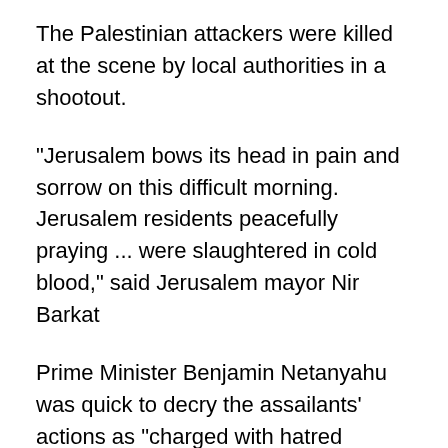The Palestinian attackers were killed at the scene by local authorities in a shootout.
"Jerusalem bows its head in pain and sorrow on this difficult morning. Jerusalem residents peacefully praying ... were slaughtered in cold blood," said Jerusalem mayor Nir Barkat
Prime Minister Benjamin Netanyahu was quick to decry the assailants' actions as "charged with hatred against the Jewish people and their state."
"This is the direct result of the incitement being led by Hamas and Abu Mazen, incitement which the international community is irresponsibly ignoring," he said, adding that Israel would respond with a "heavy...